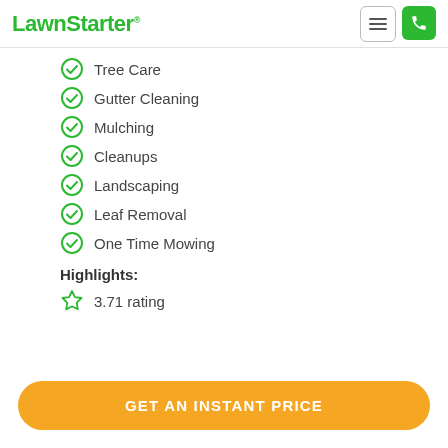LawnStarter
Tree Care
Gutter Cleaning
Mulching
Cleanups
Landscaping
Leaf Removal
One Time Mowing
Highlights:
3.71 rating
GET AN INSTANT PRICE